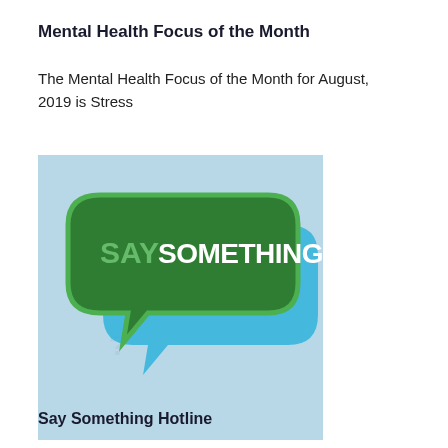Mental Health Focus of the Month
The Mental Health Focus of the Month for August, 2019 is Stress
[Figure (illustration): Say Something campaign logo — a green speech bubble with the text 'SAY SOMETHING' in white, overlaid on a blue speech bubble, set against a light blue background.]
Say Something Hotline